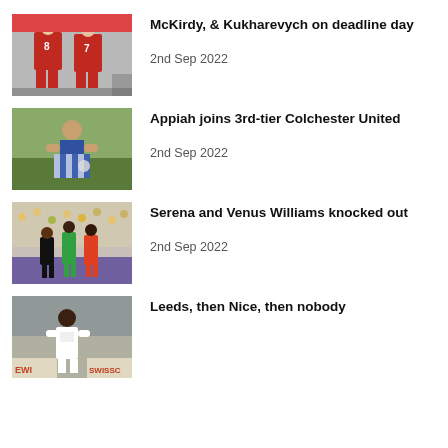McKirdy, & Kukharevych on deadline day — 2nd Sep 2022
Appiah joins 3rd-tier Colchester United — 2nd Sep 2022
Serena and Venus Williams knocked out — 2nd Sep 2022
Leeds, then Nice, then nobody